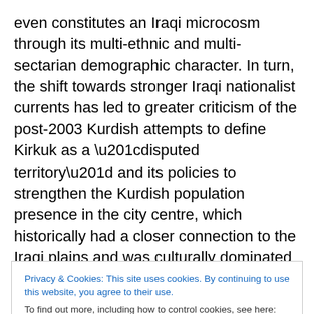even constitutes an Iraqi microcosm through its multi-ethnic and multi-sectarian demographic character. In turn, the shift towards stronger Iraqi nationalist currents has led to greater criticism of the post-2003 Kurdish attempts to define Kirkuk as a “disputed territory” and its policies to strengthen the Kurdish population presence in the city centre, which historically had a closer connection to the Iraqi plains and was culturally dominated by Turkmens. (The Kurdish migration to Kirkuk accelerated in earnest only during the 1960s; while some of the post-2003 Kurdish immigration certainly rectified Baathist attempts to
Privacy & Cookies: This site uses cookies. By continuing to use this website, you agree to their use.
To find out more, including how to control cookies, see here: Cookie Policy
Close and accept
tacitly recognising all the changes to the area’s